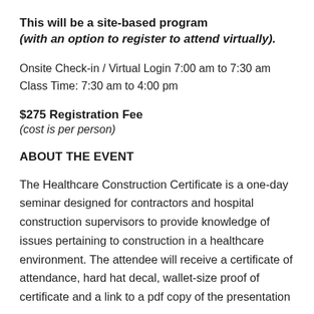This will be a site-based program
(with an option to register to attend virtually).
Onsite Check-in / Virtual Login 7:00 am to 7:30 am
Class Time: 7:30 am to 4:00 pm
$275 Registration Fee
(cost is per person)
ABOUT THE EVENT
The Healthcare Construction Certificate is a one-day seminar designed for contractors and hospital construction supervisors to provide knowledge of issues pertaining to construction in a healthcare environment. The attendee will receive a certificate of attendance, hard hat decal, wallet-size proof of certificate and a link to a pdf copy of the presentation